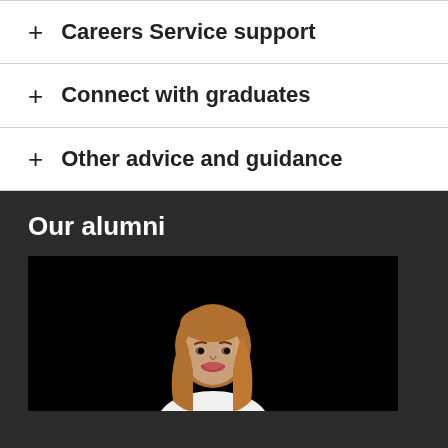+ Careers Service support
+ Connect with graduates
+ Other advice and guidance
Our alumni
[Figure (photo): A smiling woman with long blonde hair wearing a white top, photographed against a dark/black background.]